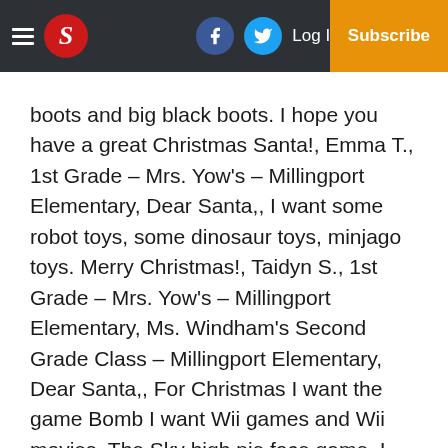S [newspaper logo] | Facebook | Twitter | Log In | Subscribe
boots and big black boots. I hope you have a great Christmas Santa!, Emma T., 1st Grade – Mrs. Yow's – Millingport Elementary, Dear Santa,, I want some robot toys, some dinosaur toys, minjago toys. Merry Christmas!, Taidyn S., 1st Grade – Mrs. Yow's – Millingport Elementary, Ms. Windham's Second Grade Class – Millingport Elementary, Dear Santa,, For Christmas I want the game Bomb I want Wii games and Wii movies. The Sky high pie face game. I want a elf and a tiny oven and laser tag and a hamster and a bike and magic. I have been a good boy this year. I will make you cookies that are very